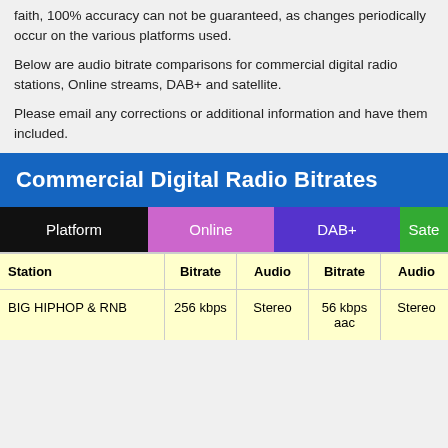faith, 100% accuracy can not be guaranteed, as changes periodically occur on the various platforms used.
Below are audio bitrate comparisons for commercial digital radio stations, Online streams, DAB+ and satellite.
Please email any corrections or additional information and have them included.
| Platform | Online Bitrate | Online Audio | DAB+ Bitrate | DAB+ Audio | Satellite Bitrate |
| --- | --- | --- | --- | --- | --- |
| Station | Bitrate | Audio | Bitrate | Audio | Bitrate |
| BIG HIPHOP & RNB | 256 kbps | Stereo | 56 kbps aac | Stereo | N/A |